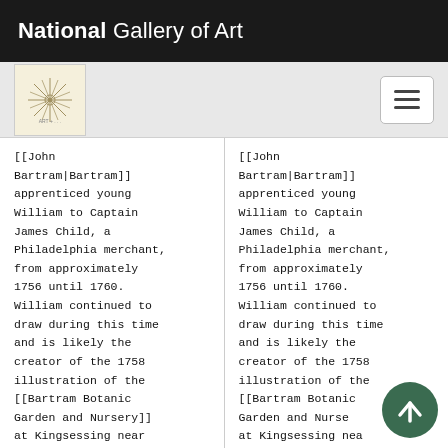National Gallery of Art
[[John Bartram|Bartram]] apprenticed young William to Captain James Child, a Philadelphia merchant, from approximately 1756 until 1760. William continued to draw during this time and is likely the creator of the 1758 illustration of the [[Bartram Botanic Garden and Nursery]] at Kingsessing near Philadelphia [Fig. 1].
[[John Bartram|Bartram]] apprenticed young William to Captain James Child, a Philadelphia merchant, from approximately 1756 until 1760. William continued to draw during this time and is likely the creator of the 1758 illustration of the [[Bartram Botanic Garden and Nursery]] at Kingsessing near Philadelphia [Fig. 1].